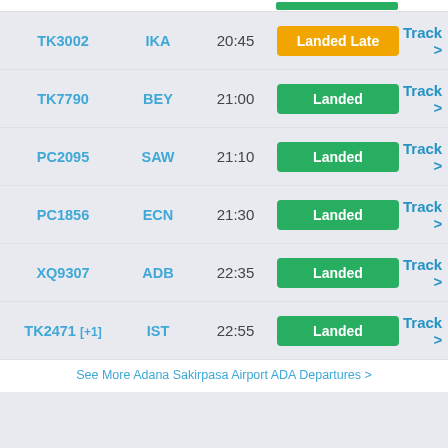| Flight | Dest | Time | Status | Action |
| --- | --- | --- | --- | --- |
| TK3002 | IKA | 20:45 | Landed Late | Track > |
| TK7790 | BEY | 21:00 | Landed | Track > |
| PC2095 | SAW | 21:10 | Landed | Track > |
| PC1856 | ECN | 21:30 | Landed | Track > |
| XQ9307 | ADB | 22:35 | Landed | Track > |
| TK2471 [+1] | IST | 22:55 | Landed | Track > |
See More Adana Sakirpasa Airport ADA Departures >
This website uses cookies and local storage. By using our services, you agree to our use of cookies and local storage.
I AGREE